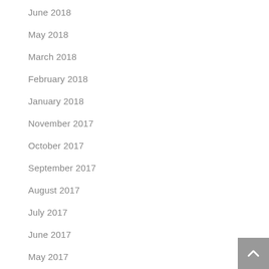June 2018
May 2018
March 2018
February 2018
January 2018
November 2017
October 2017
September 2017
August 2017
July 2017
June 2017
May 2017
April 2017
March 2017
February 2017